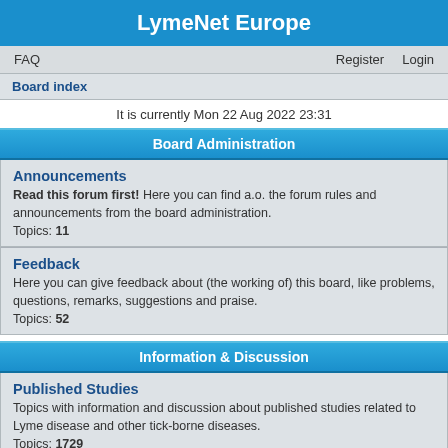LymeNet Europe
FAQ   Register   Login
Board index
It is currently Mon 22 Aug 2022 23:31
Board Administration
Announcements
Read this forum first! Here you can find a.o. the forum rules and announcements from the board administration.
Topics: 11
Feedback
Here you can give feedback about (the working of) this board, like problems, questions, remarks, suggestions and praise.
Topics: 52
Information & Discussion
Published Studies
Topics with information and discussion about published studies related to Lyme disease and other tick-borne diseases.
Topics: 1729
Medical Topics
Medical topics with questions, information and discussion related to Lyme disease and other tick-borne diseases.
Topics: 838